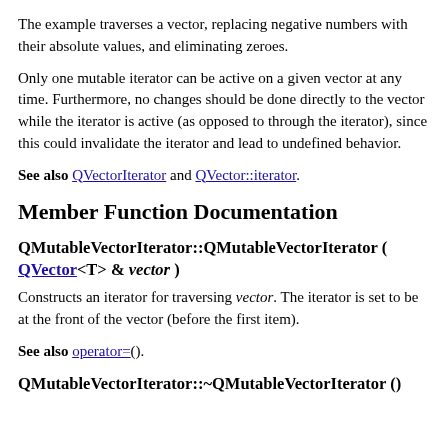The example traverses a vector, replacing negative numbers with their absolute values, and eliminating zeroes.
Only one mutable iterator can be active on a given vector at any time. Furthermore, no changes should be done directly to the vector while the iterator is active (as opposed to through the iterator), since this could invalidate the iterator and lead to undefined behavior.
See also QVectorIterator and QVector::iterator.
Member Function Documentation
QMutableVectorIterator::QMutableVectorIterator ( QVector<T> & vector )
Constructs an iterator for traversing vector. The iterator is set to be at the front of the vector (before the first item).
See also operator=().
QMutableVectorIterator::~QMutableVectorIterator ()